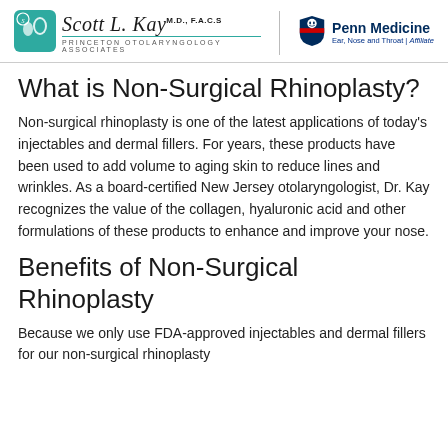Scott L. Kay M.D., F.A.C.S — Princeton Otolaryngology Associates | Penn Medicine Ear, Nose and Throat | Affiliate
What is Non-Surgical Rhinoplasty?
Non-surgical rhinoplasty is one of the latest applications of today's injectables and dermal fillers. For years, these products have been used to add volume to aging skin to reduce lines and wrinkles. As a board-certified New Jersey otolaryngologist, Dr. Kay recognizes the value of the collagen, hyaluronic acid and other formulations of these products to enhance and improve your nose.
Benefits of Non-Surgical Rhinoplasty
Because we only use FDA-approved injectables and dermal fillers for our non-surgical rhinoplasty